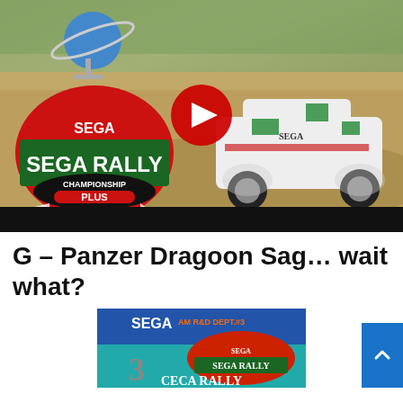[Figure (screenshot): YouTube video thumbnail showing Sega Rally Championship Plus game screenshot with a rally car on a dirt track, Sega Rally Championship Plus logo on the left, blue planet logo top left, and red YouTube play button in center. Black bar at bottom.]
G – Panzer Dragoon Sag… wait what?
[Figure (screenshot): Partial screenshot showing Sega AM R&D Dept.#3 / Sega Rally Championship title card with blue and orange/teal colors, partially visible text reading SEGA RALLY at the bottom.]